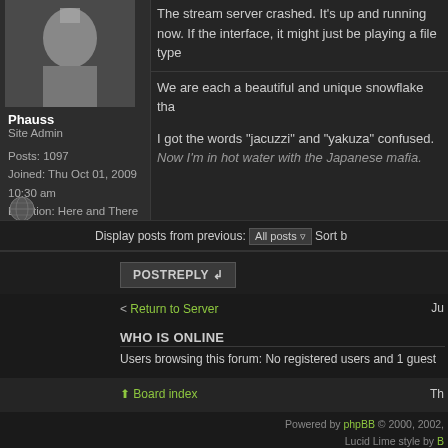[Figure (photo): Avatar photo of user Phauss showing a person in partial view]
Phauss
Site Admin

Posts: 1097
Joined: Thu Oct 01, 2009 10:30 am
Location: Here and There
The stream server crashed. It's up and running now. If the interface, it might just be playing a file type
We are each a beautiful and unique snowflake tha
I got the words "jacuzzi" and "yakuza" confused. Now I'm in hot water with the Japanese mafia.
Display posts from previous: All posts  Sort b
POSTREPLY
Return to Server
WHO IS ONLINE
Users browsing this forum: No registered users and 1 guest
Board index
Powered by phpBB © 2000, 2002, Lucid Lime style by B